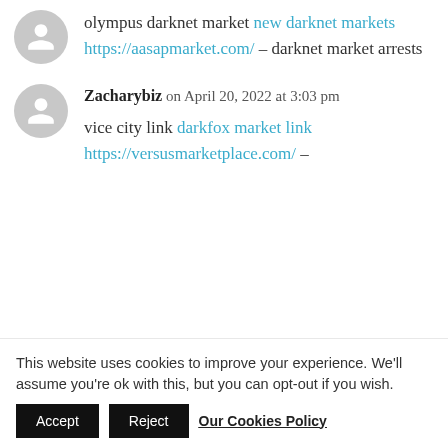olympus darknet market new darknet markets https://aasapmarket.com/ – darknet market arrests
Zacharybiz on April 20, 2022 at 3:03 pm
vice city link darkfox market link https://versusmarketplace.com/ –
This website uses cookies to improve your experience. We'll assume you're ok with this, but you can opt-out if you wish.